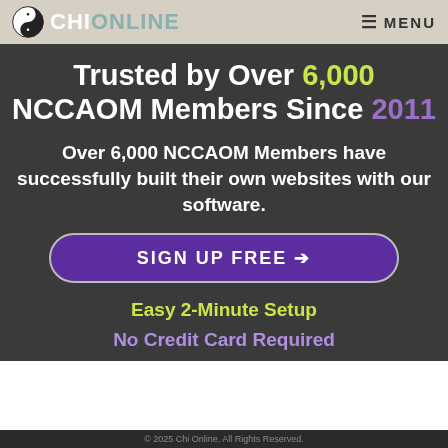CHI ONLINE — MENU
Trusted by Over 6,000 NCCAOM Members Since 2011
Over 6,000 NCCAOM Members have successfully built their own websites with our software.
SIGN UP FREE ➔
Easy 2-Minute Setup
No Credit Card Required
© 2025 Chi Online. All Rights Reserved.